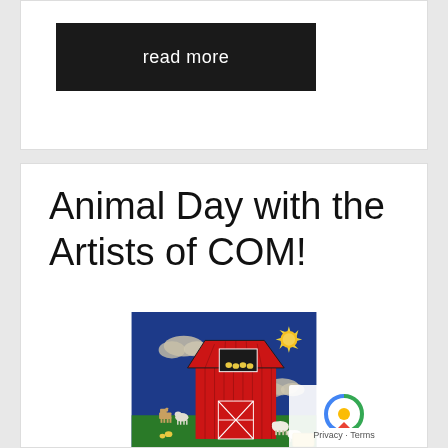read more
Animal Day with the Artists of COM!
[Figure (illustration): A colorful children's painting of a red barn on a blue background. The barn is centered, painted red with a white-outlined door featuring an X pattern. A loft window shows chicks inside. To the left, white clouds and a horse and goat on green grass. To the right, more clouds and sheep. Upper right has a yellow sun with pointed rays on a blue sky.]
Privacy · Terms